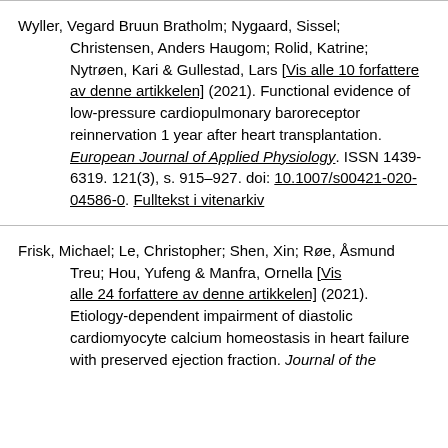Wyller, Vegard Bruun Bratholm; Nygaard, Sissel; Christensen, Anders Haugom; Rolid, Katrine; Nytrøen, Kari & Gullestad, Lars [Vis alle 10 forfattere av denne artikkelen] (2021). Functional evidence of low-pressure cardiopulmonary baroreceptor reinnervation 1 year after heart transplantation. European Journal of Applied Physiology. ISSN 1439-6319. 121(3), s. 915–927. doi: 10.1007/s00421-020-04586-0. Fulltekst i vitenarkiv
Frisk, Michael; Le, Christopher; Shen, Xin; Røe, Åsmund Treu; Hou, Yufeng & Manfra, Ornella [Vis alle 24 forfattere av denne artikkelen] (2021). Etiology-dependent impairment of diastolic cardiomyocyte calcium homeostasis in heart failure with preserved ejection fraction. Journal of the...